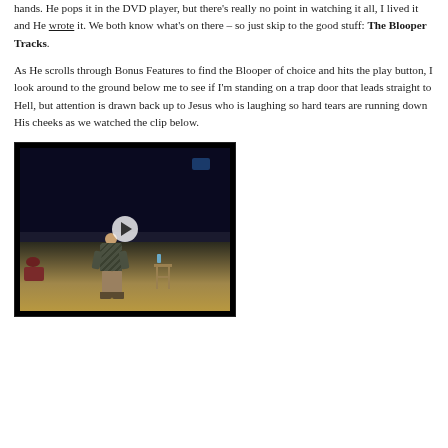hands. He pops it in the DVD player, but there's really no point in watching it all, I lived it and He wrote it. We both know what's on there – so just skip to the good stuff: The Blooper Tracks.
As He scrolls through Bonus Features to find the Blooper of choice and hits the play button, I look around to the ground below me to see if I'm standing on a trap door that leads straight to Hell, but attention is drawn back up to Jesus who is laughing so hard tears are running down His cheeks as we watched the clip below.
[Figure (screenshot): Video player screenshot showing a man in a patterned shirt standing on a stage with a stool to his right, performing. A play button overlay is visible in the center.]